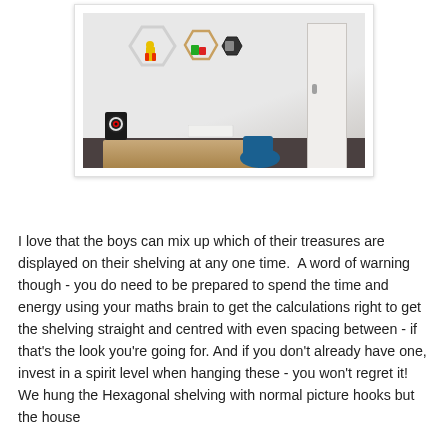[Figure (photo): Interior room photo showing three hexagonal wall shelves (one large white, one medium wood-toned, one small dark) with LEGO figures and small objects displayed on them. Below the shelves is a wooden floating desk with a dartboard and papers on it. A door is visible on the right side of the room. A blue chair is partially visible at the bottom.]
I love that the boys can mix up which of their treasures are displayed on their shelving at any one time.  A word of warning though - you do need to be prepared to spend the time and energy using your maths brain to get the calculations right to get the shelving straight and centred with even spacing between - if that's the look you're going for. And if you don't already have one, invest in a spirit level when hanging these - you won't regret it! We hung the Hexagonal shelving with normal picture hooks but the house